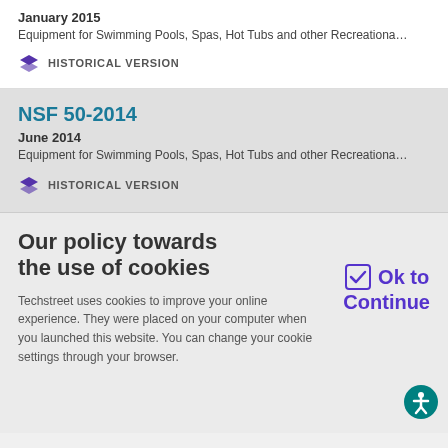January 2015
Equipment for Swimming Pools, Spas, Hot Tubs and other Recreational...
HISTORICAL VERSION
NSF 50-2014
June 2014
Equipment for Swimming Pools, Spas, Hot Tubs and other Recreational...
HISTORICAL VERSION
Our policy towards the use of cookies
Techstreet uses cookies to improve your online experience. They were placed on your computer when you launched this website. You can change your cookie settings through your browser.
Ok to Continue